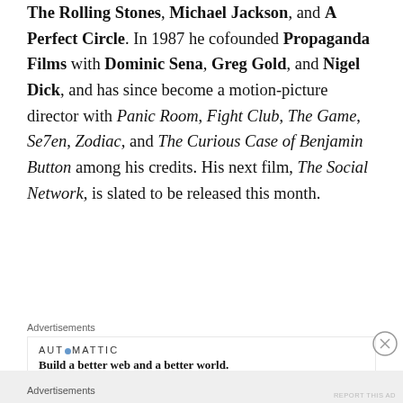music videos for various artists including Madonna, The Rolling Stones, Michael Jackson, and A Perfect Circle. In 1987 he cofounded Propaganda Films with Dominic Sena, Greg Gold, and Nigel Dick, and has since become a motion-picture director with Panic Room, Fight Club, The Game, Se7en, Zodiac, and The Curious Case of Benjamin Button among his credits. His next film, The Social Network, is slated to be released this month.
Advertisements
[Figure (other): Automattic advertisement: logo reading AUT⊙MATTIC and tagline 'Build a better web and a better world.']
Advertisements